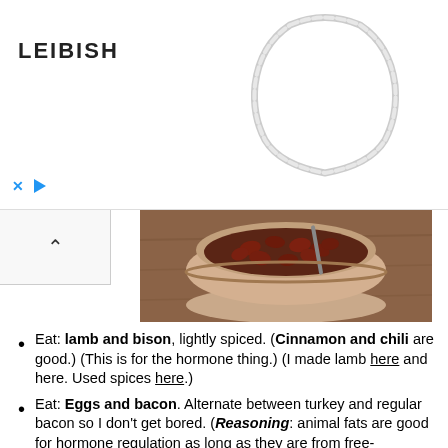[Figure (advertisement): Leibish jewelry advertisement banner showing a diamond tennis necklace with brand name LEIBISH and ad controls (close X and play button)]
[Figure (photo): Photo of a ceramic bowl filled with dark red/brown black beans, placed on a wooden surface]
Eat: lamb and bison, lightly spiced. (Cinnamon and chili are good.) (This is for the hormone thing.) (I made lamb here and here. Used spices here.)
Eat: Eggs and bacon. Alternate between turkey and regular bacon so I don't get bored. (Reasoning: animal fats are good for hormone regulation as long as they are from free-range/organic animals.) (Also for hormones.) (I made bacon here. Eggs and bacon breakfast here.)
Eat: black beans with some coconut oil. (For hormones.) (Ate them here.) (Coconut oil here.)